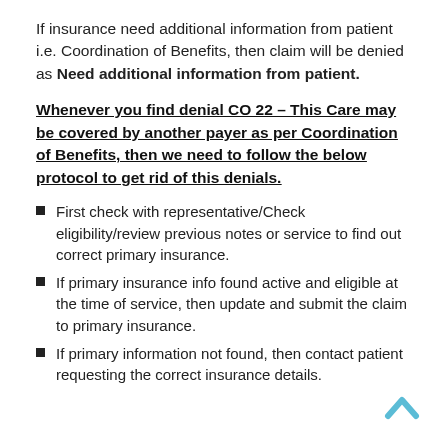If insurance need additional information from patient i.e. Coordination of Benefits, then claim will be denied as Need additional information from patient.
Whenever you find denial CO 22 – This Care may be covered by another payer as per Coordination of Benefits, then we need to follow the below protocol to get rid of this denials.
First check with representative/Check eligibility/review previous notes or service to find out correct primary insurance.
If primary insurance info found active and eligible at the time of service, then update and submit the claim to primary insurance.
If primary information not found, then contact patient requesting the correct insurance details.